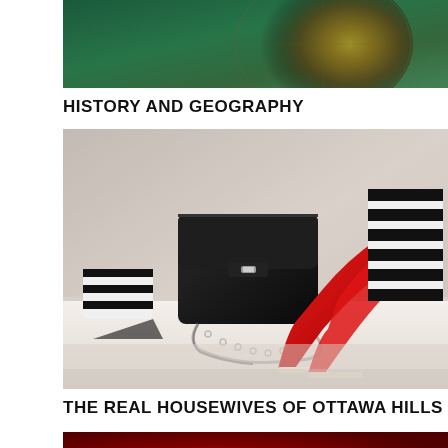[Figure (photo): Partial photo of a globe or map with green and golden colors, cropped at top]
HISTORY AND GEOGRAPHY
[Figure (photo): Fashion accessories display showing a black leather crossbody bag with chain strap, red patent leather stiletto heels, and black and white striped items on a white surface]
THE REAL HOUSEWIVES OF OTTAWA HILLS
[Figure (photo): Partial photo with dark red/crimson background, cropped at bottom]